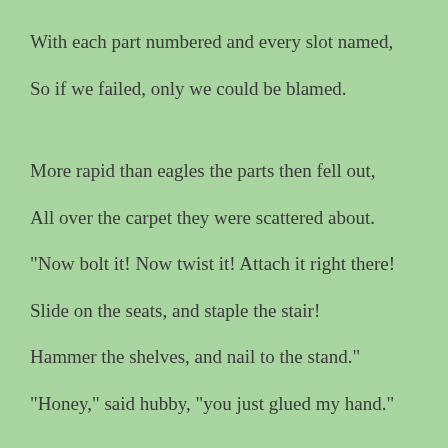With each part numbered and every slot named,
So if we failed, only we could be blamed.
More rapid than eagles the parts then fell out,
All over the carpet they were scattered about.
"Now bolt it! Now twist it! Attach it right there!
Slide on the seats, and staple the stair!
Hammer the shelves, and nail to the stand."
"Honey," said hubby, "you just glued my hand."